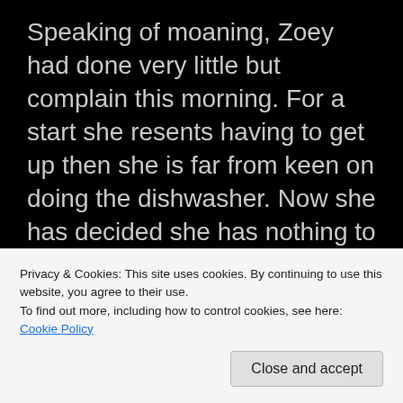Speaking of moaning, Zoey had done very little but complain this morning. For a start she resents having to get up then she is far from keen on doing the dishwasher. Now she has decided she has nothing to wear, no trousers certainly, well, none that she likes so she is back in the ones she has worn all week and keeps wearing as soon as I an get them through the wash. She actually does have another 11 pair but, even though she chose
Privacy & Cookies: This site uses cookies. By continuing to use this website, you agree to their use.
To find out more, including how to control cookies, see here: Cookie Policy